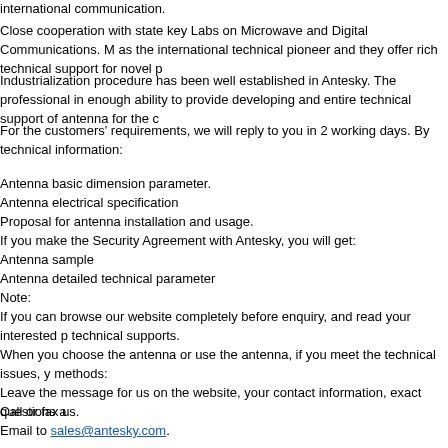international communication.
Close cooperation with state key Labs on Microwave and Digital Communications. M as the international technical pioneer and they offer rich technical support for novel p
Industrialization procedure has been well established in Antesky. The professional in enough ability to provide developing and entire technical support of antenna for the c
For the customers' requirements, we will reply to you in 2 working days. By technical information:
Antenna basic dimension parameter.
Antenna electrical specification
Proposal for antenna installation and usage.
If you make the Security Agreement with Antesky, you will get:
Antenna sample
Antenna detailed technical parameter
Note:
If you can browse our website completely before enquiry, and read your interested p technical supports.
When you choose the antenna or use the antenna, if you meet the technical issues, y methods:
Leave the message for us on the website, your contact information, exact questions a
Call or fax us.
Email to sales@antesky.com.